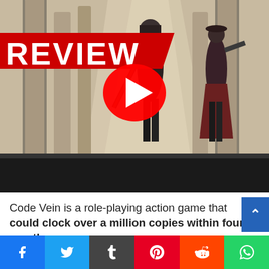[Figure (screenshot): Code Vein game review thumbnail image showing two dark fantasy characters with weapons standing in a gothic cathedral environment, overlaid with a red 'REVIEW' banner and a YouTube play button in the center.]
Code Vein is a role-playing action game that could clock over a million copies within four months
[Figure (infographic): Social media share bar with buttons for Facebook, Twitter, Tumblr, Pinterest, Reddit, and WhatsApp]